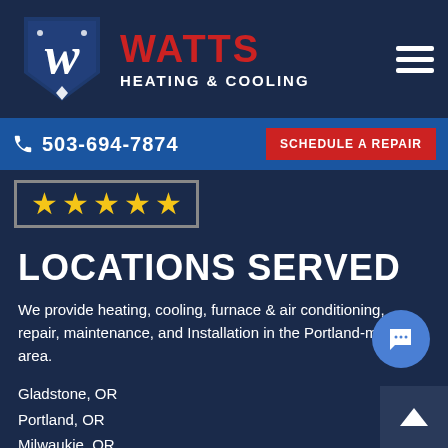[Figure (logo): Watts Heating & Cooling logo with blue shield containing a white cursive W, red WATTS text, white HEATING & COOLING subtext, and hamburger menu icon on the right]
503-694-7874  SCHEDULE A REPAIR
[Figure (other): Five gold stars rating inside a bordered box]
LOCATIONS SERVED
We provide heating, cooling, furnace & air conditioning, repair, maintenance, and Installation in the Portland-metro area.
Gladstone, OR
Portland, OR
Milwaukie, OR
Gresham, OR